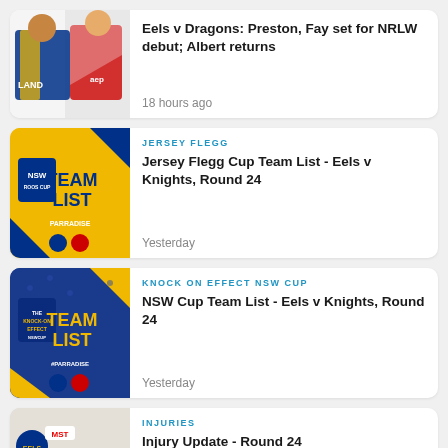[Figure (photo): Eels v Dragons NRLW players promo image]
Eels v Dragons: Preston, Fay set for NRLW debut; Albert returns
18 hours ago
[Figure (photo): Jersey Flegg Team List - NSW Team List yellow graphic]
JERSEY FLEGG
Jersey Flegg Cup Team List - Eels v Knights, Round 24
Yesterday
[Figure (photo): Knock On Effect NSW Cup Team List blue graphic]
KNOCK ON EFFECT NSW CUP
NSW Cup Team List - Eels v Knights, Round 24
Yesterday
[Figure (photo): Injury Update graphic]
INJURIES
Injury Update - Round 24